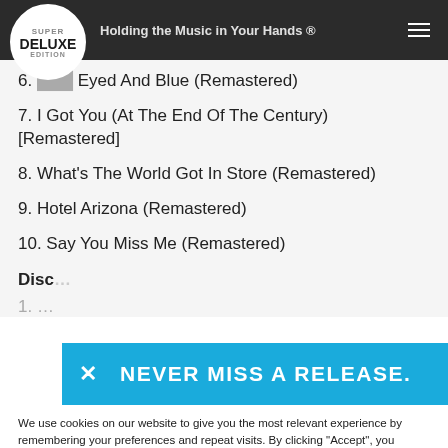Super Deluxe Edition — Holding the Music in Your Hands ®
6. [Brown] Eyed And Blue (Remastered)
7. I Got You (At The End Of The Century) [Remastered]
8. What's The World Got In Store (Remastered)
9. Hotel Arizona (Remastered)
10. Say You Miss Me (Remastered)
Disc
[Figure (other): Blue promotional banner with close (X) button and text: NEVER MISS A RELEASE.]
We use cookies on our website to give you the most relevant experience by remembering your preferences and repeat visits. By clicking "Accept", you consent to the use of ALL the cookies.
Cookie settings   ACCEPT